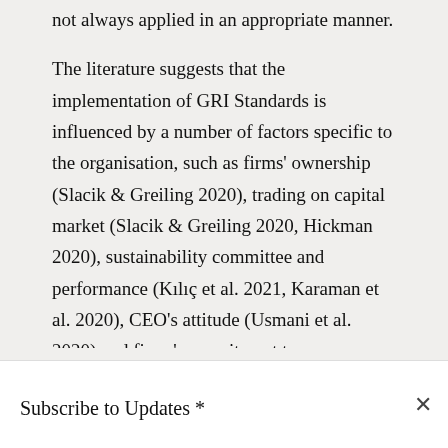not always applied in an appropriate manner.
The literature suggests that the implementation of GRI Standards is influenced by a number of factors specific to the organisation, such as firms' ownership (Slacik & Greiling 2020), trading on capital market (Slacik & Greiling 2020, Hickman 2020), sustainability committee and performance (Kılıç et al. 2021, Karaman et al. 2020), CEO's attitude (Usmani et al. 2020) and firms' commitment to sustainability (Hussain et al. 2018a). Hickman (2020) compared the CSR disclosures of publicly traded firms and privately held firms and found that publicly traded firms tend to follow GRI Guidelines because they seek
Subscribe to Updates *